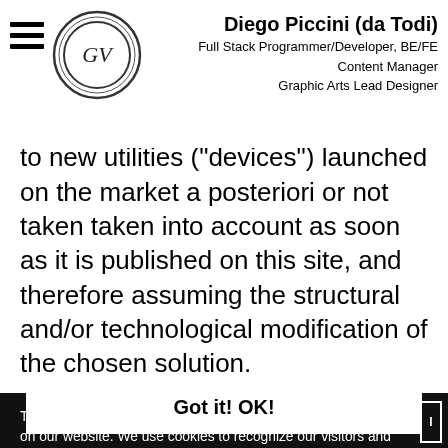Diego Piccini (da Todi)
Full Stack Programmer/Developer, BE/FE
Content Manager
Graphic Arts Lead Designer
adapt, for example, its Internet site to new utilities ("devices") launched on the market a posteriori or not taken taken into account as soon as it is published on this site, and therefore assuming the structural and/or technological modification of the chosen solution.
This website uses cookies to ensure you get the best experience on our website. We use cookies to recognize our visitors and remember their choices, to also analyze our website traffic. If you want to read more about our Cookie Policy, how to decline them and of course the consequences of that, click on Cookie Policy. For more information regarding personal data protection, click on Privacy Policy.
Ce site utilise des cookies pour vous garantir la meilleure expérience possible sur notre site. Nous utilisons des cookies pour reconnaître nos visiteurs et mémoriser leurs choix, pour analyser également le trafic de notre site Web. Si vous
Got it! OK!